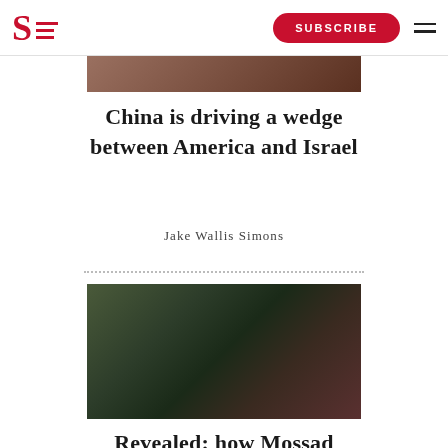S [Spectator logo] | SUBSCRIBE
[Figure (photo): Partial top image showing group of people at formal event]
China is driving a wedge between America and Israel
Jake Wallis Simons
[Figure (photo): Military honor guard in black uniforms and caps seated around a flag-draped coffin, wearing face masks, in a room with red and green decor]
Revealed: how Mossad eliminated Mohsen Fakhrizadeh
Jake Wallis Si...